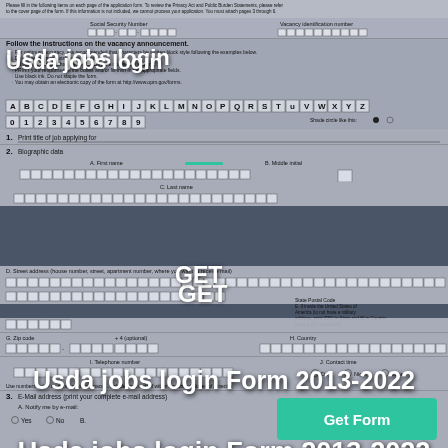[Figure (screenshot): Background image of a USDA government job application form (OF-306 style) with fields for Social Security Number, Vacancy Identification Number, biographic data including first name, middle initial, last name, street address, zip code, country, telephone number, contact time, and e-mail address. Form has alphabetic and numeric character boxes for print entries.]
Usda jobs login
GET
Usda jobs login Form 2013-2022
[Figure (other): Green 'Get Form' button overlay on the form background]